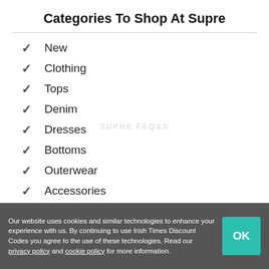Categories To Shop At Supre
New
Clothing
Tops
Denim
Dresses
Bottoms
Outerwear
Accessories
Sale
Our website uses cookies and similar technologies to enhance your experience with us. By continuing to use Irish Times Discount Codes you agree to the use of these technologies. Read our privacy policy and cookie policy for more information.